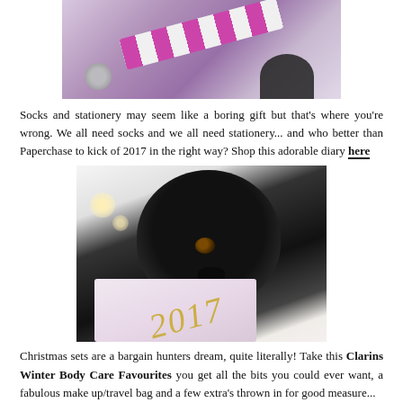[Figure (photo): Photo of a striped pink and white product tube/package with pine cone decorations and a dark dog paw, on a white background.]
Socks and stationery may seem like a boring gift but that's where you're wrong. We all need socks and we all need stationery... and who better than Paperchase to kick of 2017 in the right way? Shop this adorable diary here
[Figure (photo): Photo of a black pug dog resting its head on a pink 2017 diary/planner, with bokeh fairy lights in the background on white bedding.]
Christmas sets are a bargain hunters dream, quite literally! Take this Clarins Winter Body Care Favourites you get all the bits you could ever want, a fabulous make up/travel bag and a few extra's thrown in for good measure...